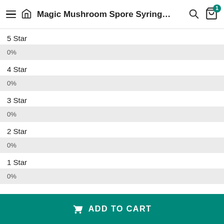Magic Mushroom Spore Syring…
5 Star
0%
4 Star
0%
3 Star
0%
2 Star
0%
1 Star
0%
Reviews
ADD TO CART